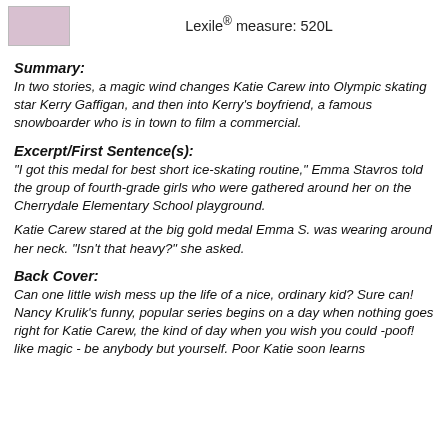[Figure (illustration): Small book cover image thumbnail in top left corner]
Lexile® measure: 520L
Summary:
In two stories, a magic wind changes Katie Carew into Olympic skating star Kerry Gaffigan, and then into Kerry's boyfriend, a famous snowboarder who is in town to film a commercial.
Excerpt/First Sentence(s):
"I got this medal for best short ice-skating routine," Emma Stavros told the group of fourth-grade girls who were gathered around her on the Cherrydale Elementary School playground.
Katie Carew stared at the big gold medal Emma S. was wearing around her neck. "Isn't that heavy?" she asked.
Back Cover:
Can one little wish mess up the life of a nice, ordinary kid? Sure can!
Nancy Krulik's funny, popular series begins on a day when nothing goes right for Katie Carew, the kind of day when you wish you could -poof! like magic - be anybody but yourself. Poor Katie soon learns